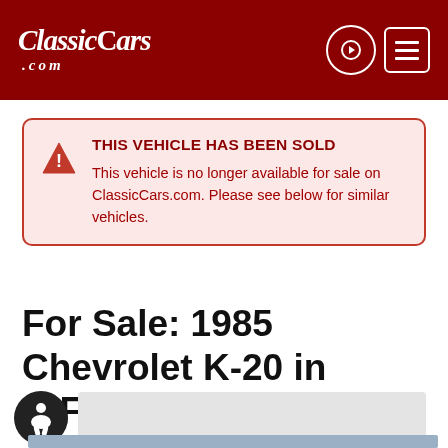ClassicCars.com
THIS VEHICLE HAS BEEN SOLD
This vehicle is no longer available for sale on ClassicCars.com. Please see below for similar vehicles.
For Sale: 1985 Chevrolet K-20 in O'Fallon, Illinois
[Figure (photo): Partial view of a truck photo strip and accessibility icon]
[Figure (photo): Partial view of a 1985 Chevrolet K-20 truck at bottom of page]